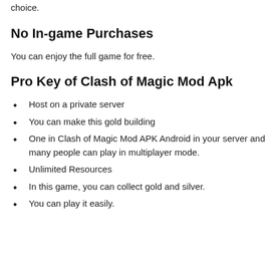choice.
No In-game Purchases
You can enjoy the full game for free.
Pro Key of Clash of Magic Mod Apk
Host on a private server
You can make this gold building
One in Clash of Magic Mod APK Android in your server and many people can play in multiplayer mode.
Unlimited Resources
In this game, you can collect gold and silver.
You can play it easily.